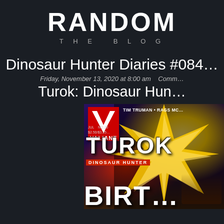RANDOM
THE BLOG
Dinosaur Hunter Diaries #084
Friday, November 13, 2020 at 8:00 am   Comm...
Turok: Dinosaur Hun...
[Figure (illustration): Comic book cover for Turok Dinosaur Hunter from Valiant Comics, showing a dark silhouetted figure against a yellow burst background. The Valiant V logo appears top-left with authors Tim Truman and Rags Mc... credited. The word TUROK appears in large white letters with DINOSAUR HUNTER subtitle in red. Partial text BIRT... appears at the bottom in large white letters.]